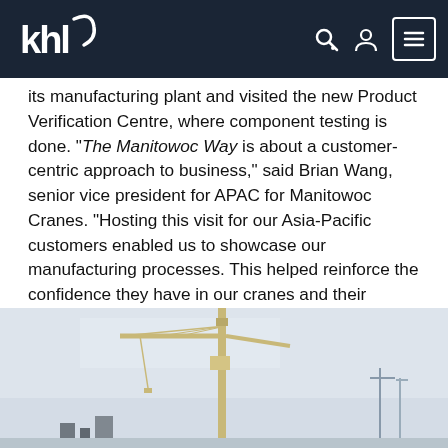KHL Group navigation bar with logo, search, account, and menu icons
its manufacturing plant and visited the new Product Verification Centre, where component testing is done. "The Manitowoc Way is about a customer-centric approach to business," said Brian Wang, senior vice president for APAC for Manitowoc Cranes. "Hosting this visit for our Asia-Pacific customers enabled us to showcase our manufacturing processes. This helped reinforce the confidence they have in our cranes and their reliability. It was also a good opportunity for us to get feedback from customers."
[Figure (photo): A tower crane against a grey overcast sky, shown from ground level looking up, with construction structures visible in the background.]